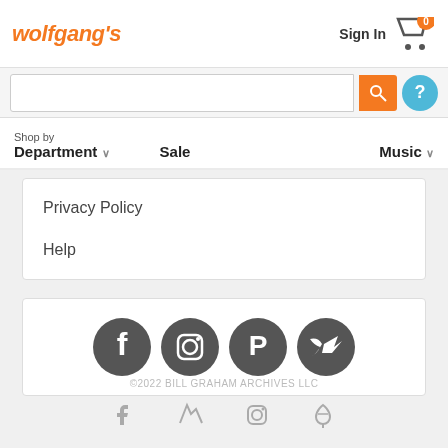wolfgang's
Sign In  0
Shop by Department  Sale  Music
Privacy Policy
Help
[Figure (logo): Social media icons: Facebook, Instagram, Pinterest, Twitter in dark gray circles]
©2022 BILL GRAHAM ARCHIVES LLC
[Figure (infographic): Small gray social media icons: Facebook, Twitter, Instagram, Pinterest]